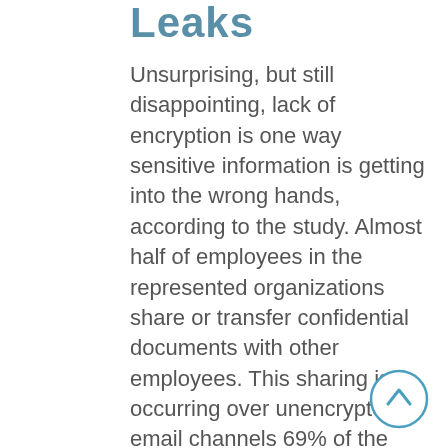Leaks
Unsurprising, but still disappointing, lack of encryption is one way sensitive information is getting into the wrong hands, according to the study. Almost half of employees in the represented organizations share or transfer confidential documents with other employees. This sharing is occurring over unencrypted email channels 69% of the time, and the other 58% of the time using a cloud-based file-sharing tool. Half of survey respondents said their company lacks a policy about